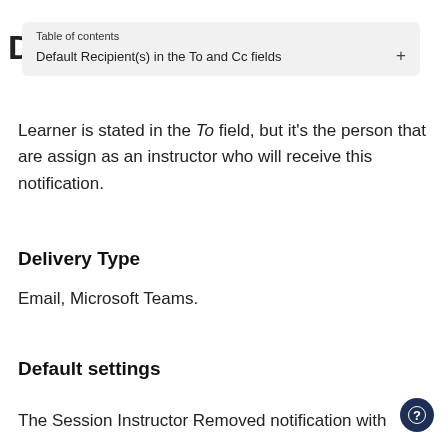D
[Figure (other): Table of contents dropdown overlay showing entry: Default Recipient(s) in the To and Cc fields with a + expand button]
Learner is stated in the To field, but it's the person that are assign as an instructor who will receive this notification.
Delivery Type
Email, Microsoft Teams.
Default settings
The Session Instructor Removed notification with